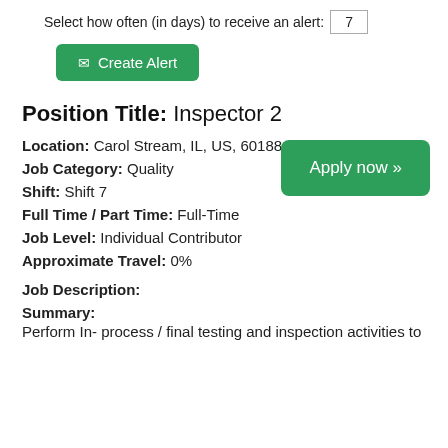Select how often (in days) to receive an alert: 7
✉ Create Alert
Apply now »
Position Title:  Inspector 2
Location:  Carol Stream, IL, US, 60188
Job Category:  Quality
Shift:  Shift 7
Full Time / Part Time:  Full-Time
Job Level:  Individual Contributor
Approximate Travel:  0%
Job Description:
Summary:
Perform In- process / final testing and inspection activities to